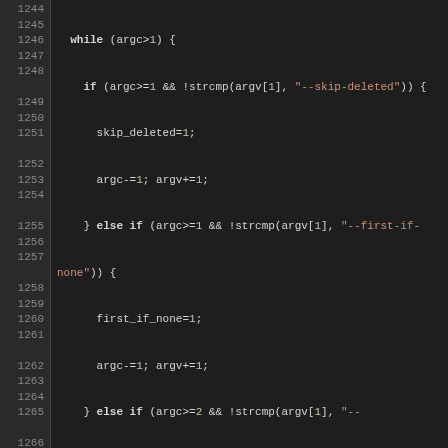[Figure (screenshot): Source code screenshot showing C code lines 1244-1270 with syntax highlighting. Dark background IDE theme with line numbers on left. Code shows argument parsing logic with while loop, if/else conditions checking argc and strcmp for command-line arguments like --skip-deleted, --first-if-none, --filter, --smart-filter, --smart-filter-instance.]